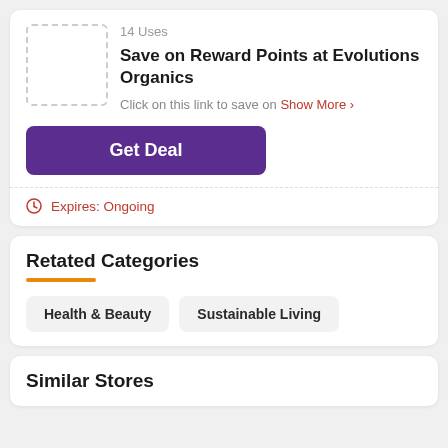14 Uses
Save on Reward Points at Evolutions Organics
Click on this link to save on Show More >
Get Deal
Expires: Ongoing
Retated Categories
Health & Beauty
Sustainable Living
Similar Stores